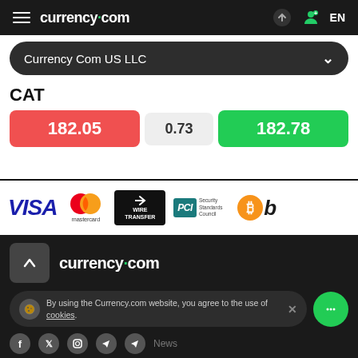currency.com  EN
Currency Com US LLC
CAT
| Sell | Spread | Buy |
| --- | --- | --- |
| 182.05 | 0.73 | 182.78 |
[Figure (logo): Payment method logos: VISA, Mastercard, Wire Transfer, PCI Security Standards Council, Bitcoin]
[Figure (logo): currency.com footer logo with scroll-to-top button]
By using the Currency.com website, you agree to the use of cookies.
News